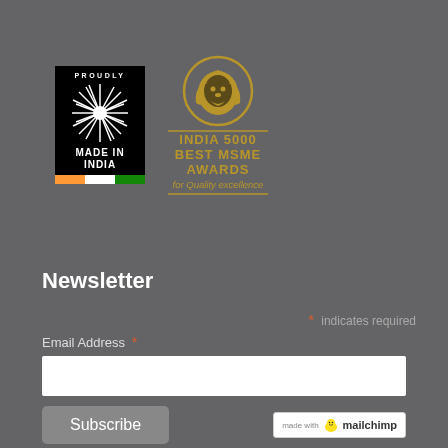[Figure (logo): Made in India badge — black rectangle with radiating lines/sunburst pattern, text PROUDLY at top, MADE IN INDIA in center, Indian flag tricolor bar at bottom]
[Figure (logo): India 5000 Best MSME Awards logo — gold lion head in circular emblem above text INDIA 5000 BEST MSME AWARDS for Quality excellence in gold script]
Newsletter
* indicates required
Email Address *
Subscribe